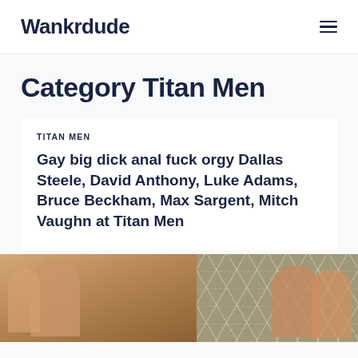Wankrdude
Category Titan Men
TITAN MEN
Gay big dick anal fuck orgy Dallas Steele, David Anthony, Luke Adams, Bruce Beckham, Max Sargent, Mitch Vaughn at Titan Men
[Figure (photo): Thumbnail image showing partial view of people against a patterned background]